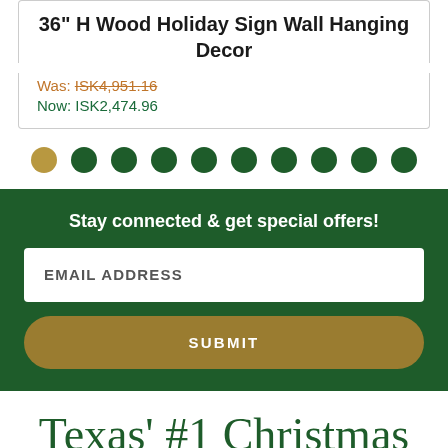36" H Wood Holiday Sign Wall Hanging Decor
Was: ISK4,951.16
Now: ISK2,474.96
[Figure (other): Pagination dots: one gold dot and nine dark green dots in a row]
Stay connected & get special offers!
EMAIL ADDRESS
SUBMIT
Texas' #1 Christmas